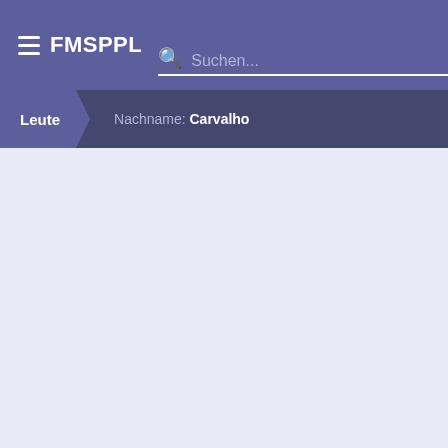FMSPPL
Suchen...
Leute  Nachname: Carvalho